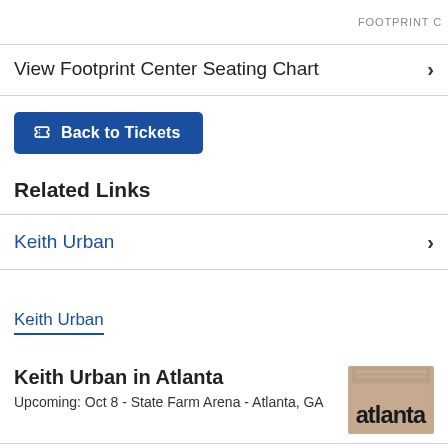FOOTPRINT C
View Footprint Center Seating Chart
Back to Tickets
Related Links
Keith Urban
Keith Urban
Keith Urban in Atlanta
Upcoming: Oct 8 - State Farm Arena - Atlanta, GA
[Figure (photo): Partial image showing the word 'atlanta' on a light brown/beige background, likely a venue or event thumbnail image.]